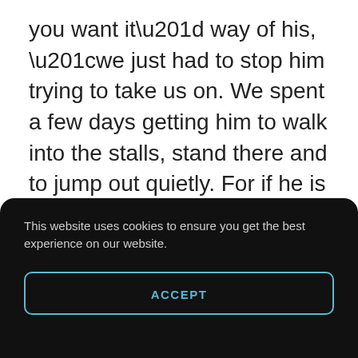you want it” way of his, “we just had to stop him trying to take us on. We spent a few days getting him to walk into the stalls, stand there and to jump out quietly. For if he is going to get the trip must not blast out and make it. It would be a waste of his talent.”
This website uses cookies to ensure you get the best experience on our website.
ACCEPT